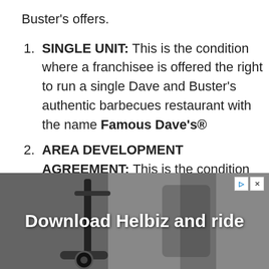Buster's offers.
SINGLE UNIT: This is the condition where a franchisee is offered the right to run a single Dave and Buster's authentic barbecues restaurant with the name Famous Dave's®
AREA DEVELOPMENT AGREEMENT: This is the condition where the franchisee is mandated to develop an agreed number of Dave
[Figure (photo): Advertisement banner showing a scooter with text 'Download Helbiz and ride']